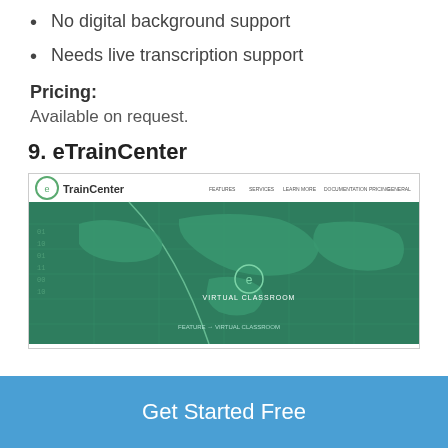No digital background support
Needs live transcription support
Pricing:
Available on request.
9. eTrainCenter
[Figure (screenshot): Screenshot of the eTrainCenter website showing the TrainCenter logo in the header navigation and a green world map background with 'Virtual Classroom' text and circular icon in the center.]
Get Started Free